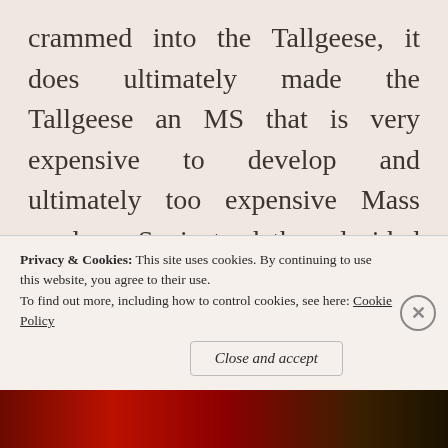crammed into the Tallgeese, it does ultimately made the Tallgeese an MS that is very expensive to develop and ultimately too expensive Mass produce. So instead they decided that it make more sense to simplify and cheapen the overall design so theywould be able to reduce the production costs of this MS and thus creating the Mass production version of
Privacy & Cookies: This site uses cookies. By continuing to use this website, you agree to their use. To find out more, including how to control cookies, see here: Cookie Policy
Close and accept